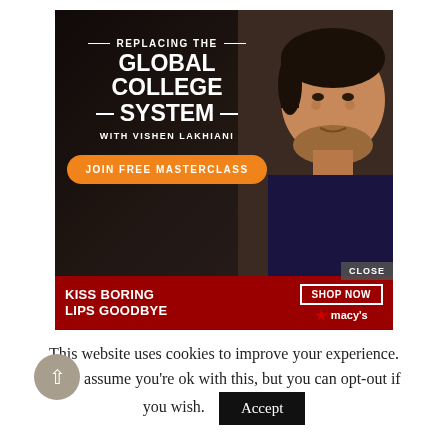[Figure (screenshot): Advertisement banner: 'Replacing the Global College System with Vishen Lakhiani' with a 'Join Free Masterclass' orange button. A man's photo is on the right. Below is a Macy's sub-ad 'Kiss Boring Lips Goodbye' with Shop Now button. A CLOSE button appears at lower right of the main ad.]
This website uses cookies to improve your experience. We'll assume you're ok with this, but you can opt-out if you wish.
Accept